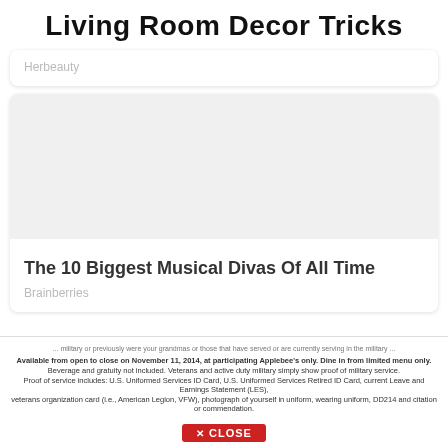Living Room Decor Tricks
Herbeauty
[Figure (photo): Blank/placeholder image area for an article thumbnail]
The 10 Biggest Musical Divas Of All Time
Brainberries
Available from open to close on November 11, 2014, at participating Applebee's only. Dine in from limited menu only. Beverage and gratuity not included. Veterans and active duty military simply show proof of military service. Proof of service includes: U.S. Uniformed Services ID Card, U.S. Uniformed Services Retired ID Card, current Leave and Earnings Statement (LES), veterans organization card (i.e., American Legion, VFW), photograph of yourself in uniform, wearing uniform, DD214 and citation or commendation.